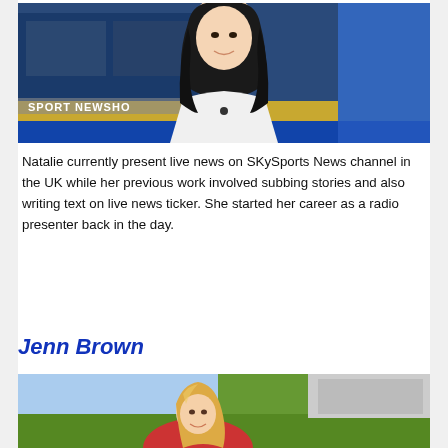[Figure (photo): Woman with dark hair sitting at a news desk in front of a TV studio backdrop showing sport news graphics. She is wearing a white top with a microphone clip. A banner reading 'SPORT NEWSHO' is visible.]
Natalie currently present live news on SKySports News channel in the UK while her previous work involved subbing stories and also writing text on live news ticker. She started her career as a radio presenter back in the day.
Jenn Brown
[Figure (photo): Blonde woman smiling outdoors at what appears to be a sports stadium or field. She is wearing a red top.]